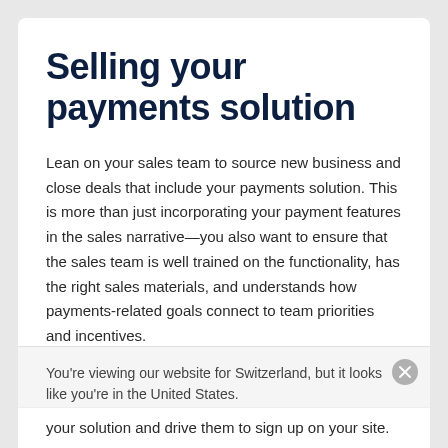Selling your payments solution
Lean on your sales team to source new business and close deals that include your payments solution. This is more than just incorporating your payment features in the sales narrative—you also want to ensure that the sales team is well trained on the functionality, has the right sales materials, and understands how payments-related goals connect to team priorities and incentives.
You're viewing our website for Switzerland, but it looks like you're in the United States.
Switch to the United States site >
your solution and drive them to sign up on your site.